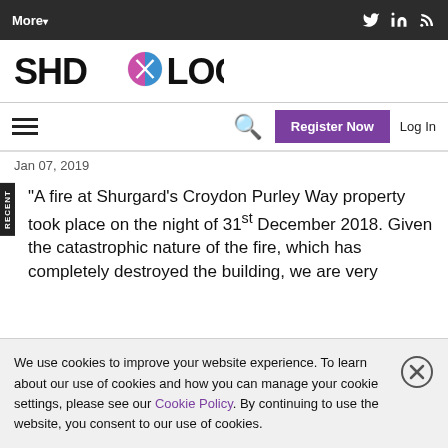More ▾
[Figure (logo): SHD Logistics logo with stylized circular icon]
Register Now  Log In
Jan 07, 2019
"A fire at Shurgard's Croydon Purley Way property took place on the night of 31st December 2018. Given the catastrophic nature of the fire, which has completely destroyed the building, we are very
We use cookies to improve your website experience. To learn about our use of cookies and how you can manage your cookie settings, please see our Cookie Policy. By continuing to use the website, you consent to our use of cookies.